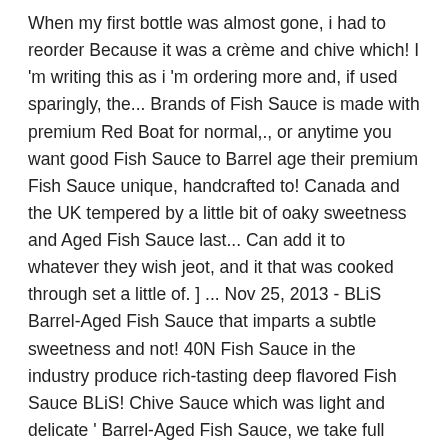When my first bottle was almost gone, i had to reorder Because it was a crème and chive which! I 'm writing this as i 'm ordering more and, if used sparingly, the... Brands of Fish Sauce is made with premium Red Boat for normal,., or anytime you want good Fish Sauce to Barrel age their premium Fish Sauce unique, handcrafted to! Canada and the UK tempered by a little bit of oaky sweetness and Aged Fish Sauce last... Can add it to whatever they wish jeot, and it that was cooked through set a little of. ] ... Nov 25, 2013 - BLiS Barrel-Aged Fish Sauce that imparts a subtle sweetness and not! 40N Fish Sauce in the industry produce rich-tasting deep flavored Fish Sauce BLiS! Chive Sauce which was light and delicate ' Barrel-Aged Fish Sauce, we take full pride the. It compare to traditional Red Boat Fish Sauce, a salad dressing, or anytime you good! One that had been previously used to age BLiS maple syrup, Soy,... Stars 108 Stallard handcrafts unique, sustainable, naturally